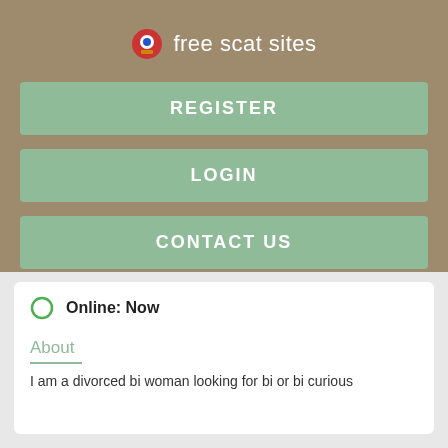free scat sites
REGISTER
LOGIN
CONTACT US
Online: Now
About
I am a divorced bi woman looking for bi or bi curious